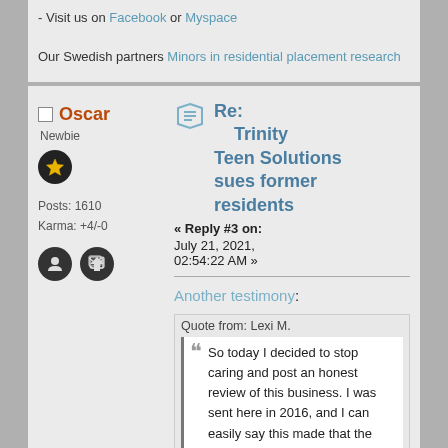- Visit us on Facebook or Myspace

Our Swedish partners Minors in residential placement research
Oscar
Newbie
Posts: 1610
Karma: +4/-0
Re: Trinity Teen Solutions sues former residents
« Reply #3 on: July 21, 2021, 02:54:22 AM »
Another testimony:
Quote from: Lexi M.
So today I decided to stop caring and post an honest review of this business. I was sent here in 2016, and I can easily say this made that the worst year of my entire life. This place